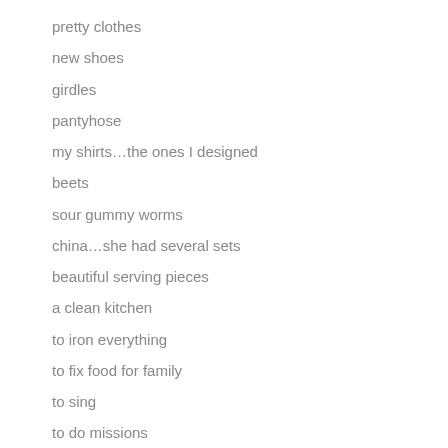pretty clothes
new shoes
girdles
pantyhose
my shirts…the ones I designed
beets
sour gummy worms
china…she had several sets
beautiful serving pieces
a clean kitchen
to iron everything
to fix food for family
to sing
to do missions